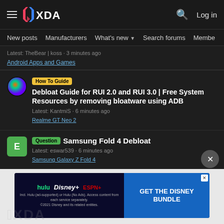XDA Forums navigation header with logo, search, and Log in
New posts | Manufacturers | What's new | Search forums | Members >
Latest: TheBear | koss · 3 minutes ago
Android Apps and Games
How To Guide Debloat Guide for RUI 2.0 and RUI 3.0 | Free System Resources by removing bloatware using ADB
Latest: KantmiS · 6 minutes ago
Realme GT Neo 2
Question Samsung Fold 4 Debloat
Latest: eswar539 · 6 minutes ago
Samsung Galaxy Z Fold 4
[Figure (screenshot): Disney Bundle advertisement banner: Hulu, Disney+, ESPN+ logos with GET THE DISNEY BUNDLE call to action. Fine print: Incl. Hulu (ad-supported) or Hulu (No Ads). Access content from each service separately. ©2021 Disney and its related entities.]